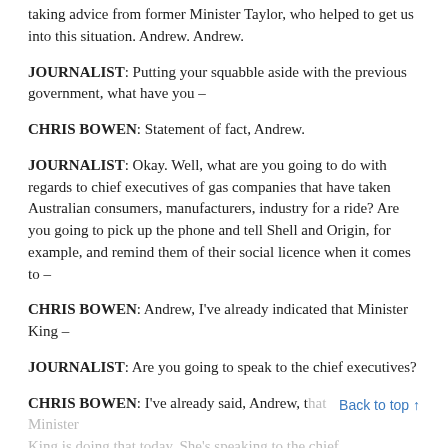taking advice from former Minister Taylor, who helped to get us into this situation. Andrew. Andrew.
JOURNALIST: Putting your squabble aside with the previous government, what have you –
CHRIS BOWEN: Statement of fact, Andrew.
JOURNALIST: Okay. Well, what are you going to do with regards to chief executives of gas companies that have taken Australian consumers, manufacturers, industry for a ride? Are you going to pick up the phone and tell Shell and Origin, for example, and remind them of their social licence when it comes to –
CHRIS BOWEN: Andrew, I've already indicated that Minister King –
JOURNALIST: Are you going to speak to the chief executives?
CHRIS BOWEN: I've already said, Andrew, that Minister King is doing that today. She's speaking to the chief